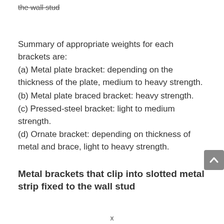the wall stud
Summary of appropriate weights for each brackets are:
(a) Metal plate bracket: depending on the thickness of the plate, medium to heavy strength.
(b) Metal plate braced bracket: heavy strength.
(c) Pressed-steel bracket: light to medium strength.
(d) Ornate bracket: depending on thickness of metal and brace, light to heavy strength.
Metal brackets that clip into slotted metal strip fixed to the wall stud
x